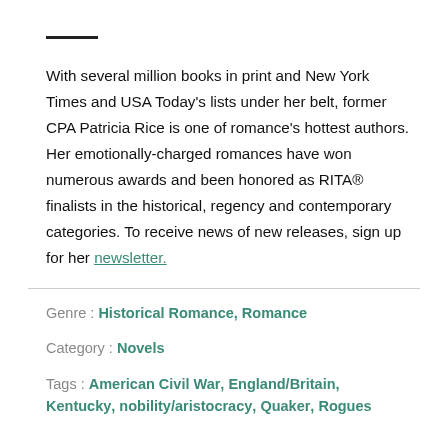With several million books in print and New York Times and USA Today's lists under her belt, former CPA Patricia Rice is one of romance's hottest authors. Her emotionally-charged romances have won numerous awards and been honored as RITA® finalists in the historical, regency and contemporary categories. To receive news of new releases, sign up for her newsletter.
Genre : Historical Romance, Romance
Category : Novels
Tags : American Civil War, England/Britain, Kentucky, nobility/aristocracy, Quaker, Rogues